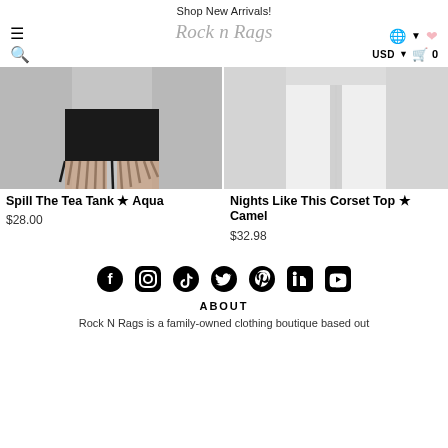Shop New Arrivals!
[Figure (screenshot): Navigation bar with hamburger menu, search icon, Rock n Rags logo in cursive, globe icon, heart icon, USD currency selector, and cart icon showing 0]
[Figure (photo): Left product image showing model wearing black cut-off shorts from waist down against light grey background]
[Figure (photo): Right product image showing model wearing white wide-leg pants from waist down against light grey background]
Spill The Tea Tank ★ Aqua
$28.00
Nights Like This Corset Top ★ Camel
$32.98
[Figure (infographic): Social media icons row: Facebook, Instagram, TikTok, Twitter, Pinterest, LinkedIn, YouTube]
ABOUT
Rock N Rags is a family-owned clothing boutique based out